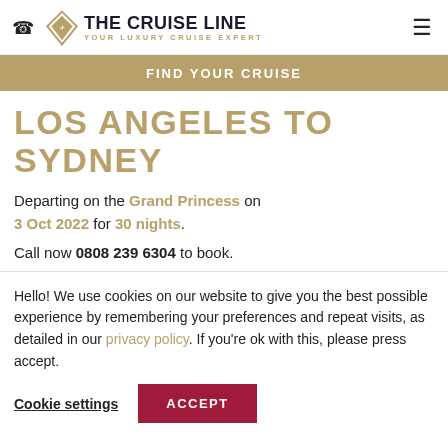THE CRUISE LINE — YOUR LUXURY CRUISE EXPERT
FIND YOUR CRUISE
LOS ANGELES TO SYDNEY
Departing on the Grand Princess on 3 Oct 2022 for 30 nights.
Call now 0808 239 6304 to book.
Hello! We use cookies on our website to give you the best possible experience by remembering your preferences and repeat visits, as detailed in our privacy policy. If you're ok with this, please press accept.
Cookie settings | ACCEPT